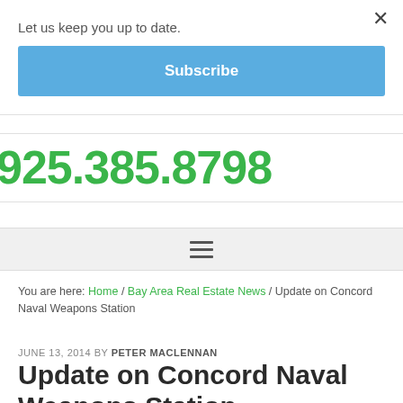Let us keep you up to date.
Subscribe
925.385.8798
You are here: Home / Bay Area Real Estate News / Update on Concord Naval Weapons Station
JUNE 13, 2014 BY PETER MACLENNAN
Update on Concord Naval Weapons Station